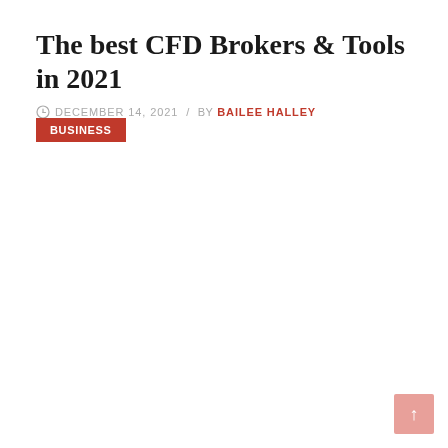The best CFD Brokers & Tools in 2021
DECEMBER 14, 2021  /  BY BAILEE HALLEY
BUSINESS